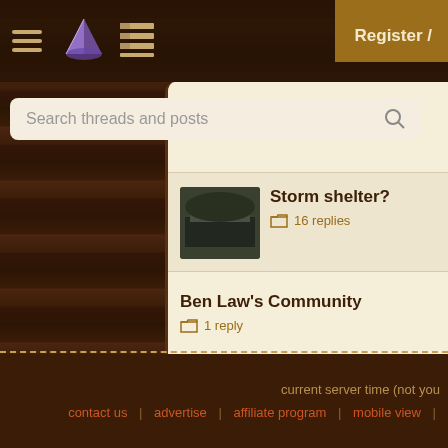[Figure (screenshot): Dark wood texture background]
Navigation bar with hamburger menu, pie chart icon, and grid icon. Register / button top right.
Search threads and posts
Hugh Hammond Benne - 8 replies
Storm shelter? - 16 replies
Ben Law's Community - 1 reply
Coffee chaff as mulch - 3 replies
current server time (not you | contact us | advertise | affiliate program | mobile view |